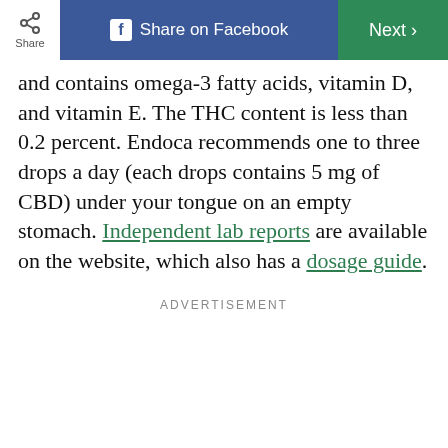Share | Share on Facebook | Next
and contains omega-3 fatty acids, vitamin D, and vitamin E. The THC content is less than 0.2 percent. Endoca recommends one to three drops a day (each drops contains 5 mg of CBD) under your tongue on an empty stomach. Independent lab reports are available on the website, which also has a dosage guide.
ADVERTISEMENT